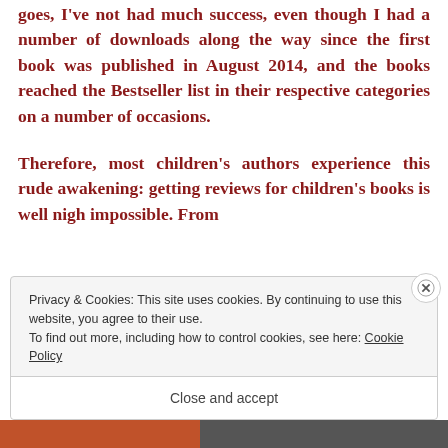As far as receiving constant reviews for any of my books goes, I've not had much success, even though I had a number of downloads along the way since the first book was published in August 2014, and the books reached the Bestseller list in their respective categories on a number of occasions.
Therefore, most children's authors experience this rude awakening: getting reviews for children's books is well nigh impossible. From
Privacy & Cookies: This site uses cookies. By continuing to use this website, you agree to their use.
To find out more, including how to control cookies, see here: Cookie Policy
Close and accept